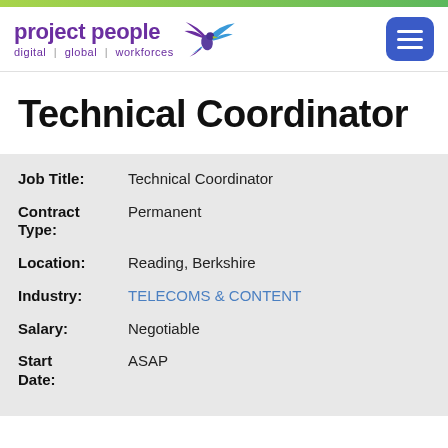[Figure (logo): Project People logo with bird graphic and tagline 'digital | global | workforces']
Technical Coordinator
| Field | Value |
| --- | --- |
| Job Title: | Technical Coordinator |
| Contract Type: | Permanent |
| Location: | Reading, Berkshire |
| Industry: | TELECOMS & CONTENT |
| Salary: | Negotiable |
| Start Date: | ASAP |